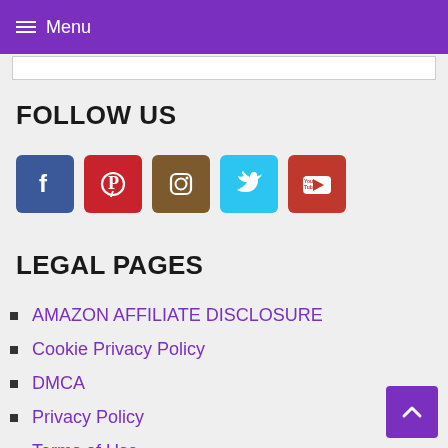Menu
FOLLOW US
[Figure (other): Row of social media icon buttons: Facebook (blue), Pinterest (red), Instagram (brown), Twitter (light blue), YouTube (dark red)]
LEGAL PAGES
AMAZON AFFILIATE DISCLOSURE
Cookie Privacy Policy
DMCA
Privacy Policy
Terms of Use